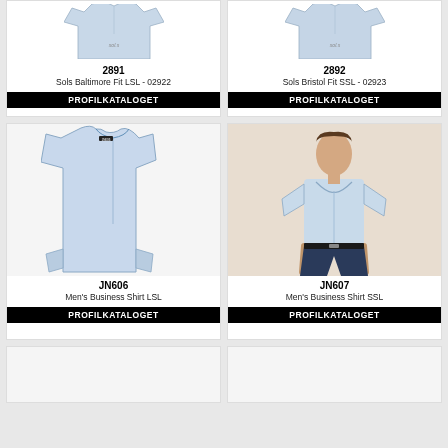[Figure (photo): Light blue long-sleeve shirt product photo (top partial, item 2891)]
[Figure (photo): Light blue short-sleeve shirt product photo (top partial, item 2892)]
2891
Sols Baltimore Fit LSL - 02922
PROFILKATALOGET
2892
Sols Bristol Fit SSL - 02923
PROFILKATALOGET
[Figure (photo): Light blue men's long-sleeve business shirt product photo (JN606)]
[Figure (photo): Man wearing light blue short-sleeve business shirt with navy trousers (JN607)]
JN606
Men's Business Shirt LSL
PROFILKATALOGET
JN607
Men's Business Shirt SSL
PROFILKATALOGET
[Figure (photo): Bottom partial card left (cropped)]
[Figure (photo): Bottom partial card right (cropped)]